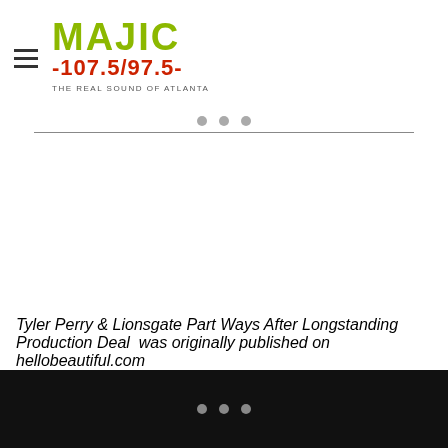MAJIC 107.5/97.5 THE REAL SOUND OF ATLANTA
Tyler Perry & Lionsgate Part Ways After Longstanding Production Deal was originally published on hellobeautiful.com
LIONSGATE , TYLER PERRY